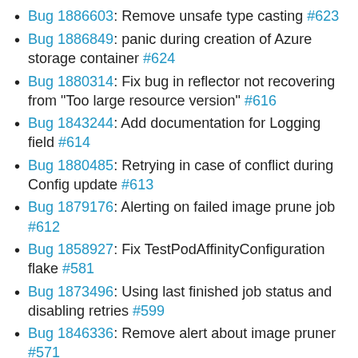Bug 1886603: Remove unsafe type casting #623
Bug 1886849: panic during creation of Azure storage container #624
Bug 1880314: Fix bug in reflector not recovering from "Too large resource version" #616
Bug 1843244: Add documentation for Logging field #614
Bug 1880485: Retrying in case of conflict during Config update #613
Bug 1879176: Alerting on failed image prune job #612
Bug 1858927: Fix TestPodAffinityConfiguration flake #581
Bug 1873496: Using last finished job status and disabling retries #599
Bug 1846336: Remove alert about image pruner #571
Bug 1841080: Increasing default startingDeadlineSeconds #565